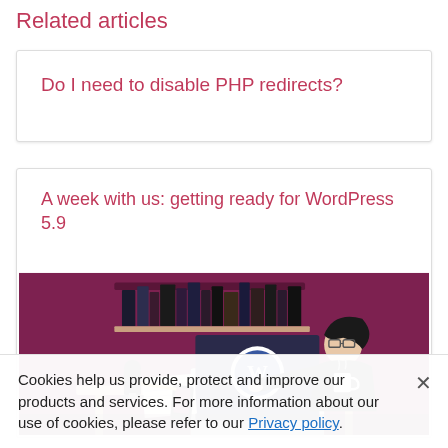Related articles
Do I need to disable PHP redirects?
A week with us: getting ready for WordPress 5.9
[Figure (illustration): Illustration of a person sitting at a desk working on a laptop displaying the WordPress logo, with books on a shelf in the background. Purple/magenta color scheme.]
Cookies help us provide, protect and improve our products and services. For more information about our use of cookies, please refer to our Privacy policy.